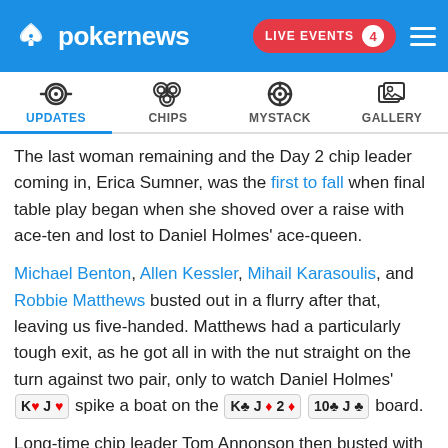pokernews | LIVE EVENTS 4
[Figure (other): Navigation bar with four tabs: UPDATES (active, blue underline), CHIPS, MYSTACK, GALLERY, each with an icon above]
The last woman remaining and the Day 2 chip leader coming in, Erica Sumner, was the first to fall when final table play began when she shoved over a raise with ace-ten and lost to Daniel Holmes' ace-queen.
Michael Benton, Allen Kessler, Mihail Karasoulis, and Robbie Matthews busted out in a flurry after that, leaving us five-handed. Matthews had a particularly tough exit, as he got all in with the nut straight on the turn against two pair, only to watch Daniel Holmes' K♥ J♥ spike a boat on the K♣ J♦ 2♦ 10♣ J♣ board.
Long-time chip leader Tom Annonson then busted with 10♠ 10♣ when he couldn't catch the Q♣ Q♦ of Shawn Schoreck. A short-stacked Will "Monkey" Souther found himself with three